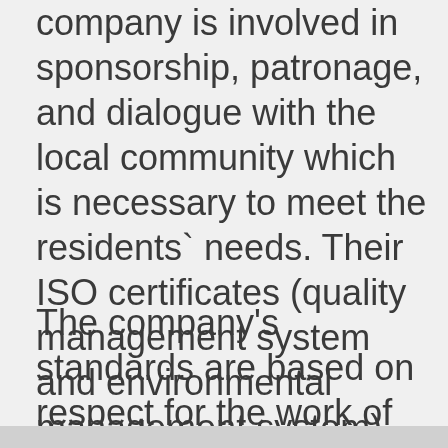company is involved in sponsorship, patronage, and dialogue with the local community which is necessary to meet the residents` needs. Their ISO certificates (quality management system and environmental management system) are proof of it.
The company's standards are based on respect for the work of social workers, the elderly, pensioners, war veterans, families, people in difficult life situations, the ones who are threatened by social exclusion,